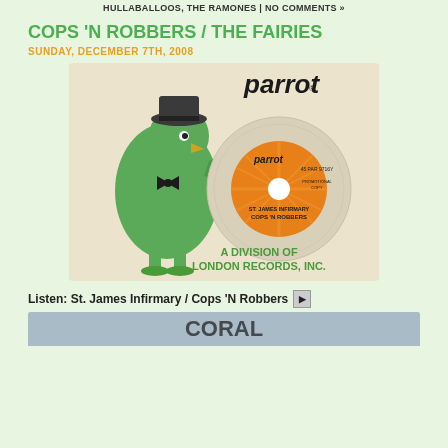HULLABALLOOS, THE RAMONES | NO COMMENTS »
COPS 'N ROBBERS / THE FAIRIES
SUNDAY, DECEMBER 7TH, 2008
[Figure (photo): Parrot Records 45 RPM single sleeve showing the Parrot Records mascot (a green cartoon parrot in a hat and tuxedo) and the record label for 'St. James Infirmary / Cops 'N Robbers' by Cops 'N Robbers, Parrot label 45 PAR 9716Y, A Division of London Records, Inc.]
Listen: St. James Infirmary / Cops 'N Robbers ▶
[Figure (photo): Partial view of another record label, appears to be a Coral Records label, partially cropped at bottom of page.]